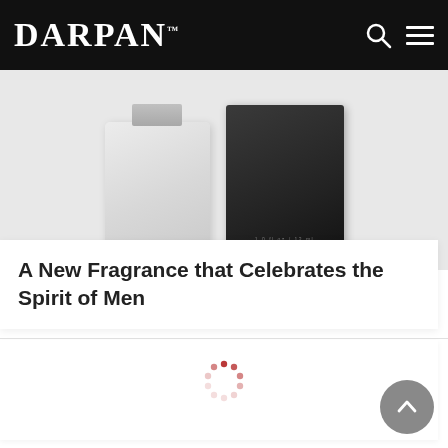DARPAN™
[Figure (photo): Product photo showing two fragrance boxes/bottles — one light grey/frosted bottle and one dark/black box — against a light grey background]
A New Fragrance that Celebrates the Spirit of Men
[Figure (other): Loading spinner (red dots in circular arrangement) indicating content is loading]
[Figure (other): Scroll-to-top button (grey circle with white upward arrow) in bottom-right corner]